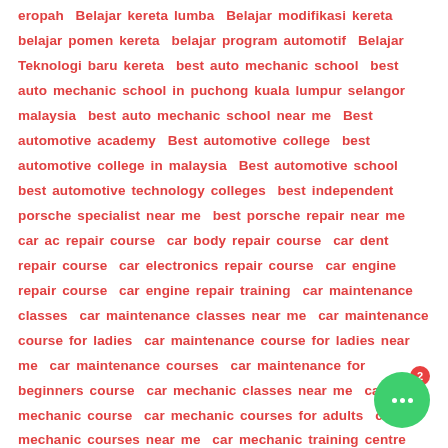eropah  Belajar kereta lumba  Belajar modifikasi kereta  belajar pomen kereta  belajar program automotif  Belajar Teknologi baru kereta  best auto mechanic school  best auto mechanic school in puchong kuala lumpur selangor malaysia  best auto mechanic school near me  Best automotive academy  Best automotive college  best automotive college in malaysia  Best automotive school  best automotive technology colleges  best independent porsche specialist near me  best porsche repair near me  car ac repair course  car body repair course  car dent repair course  car electronics repair course  car engine repair course  car engine repair training  car maintenance classes  car maintenance classes near me  car maintenance course for ladies  car maintenance course for ladies near me  car maintenance courses  car maintenance for beginners course  car mechanic classes near me  car mechanic course  car mechanic courses for adults  car mechanic courses near me  car mechanic training centre near me  car mechanic training cou…  car mechanic training courses near me  Car modify academy  Car modify college  Car modify school  car paint repair course  Car repair
[Figure (other): Chat widget with green circular button showing three white dots and a red badge showing the number 2]